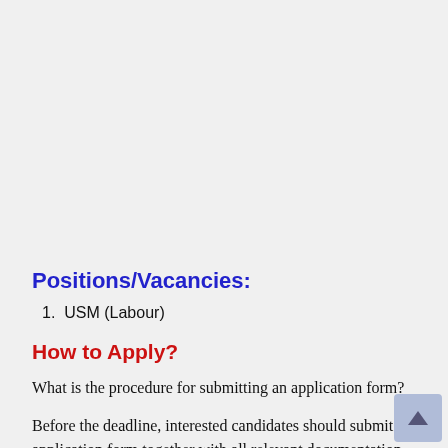Positions/Vacancies:
1. USM (Labour)
How to Apply?
What is the procedure for submitting an application form?
Before the deadline, interested candidates should submit an application form together with all relevant documentation to the